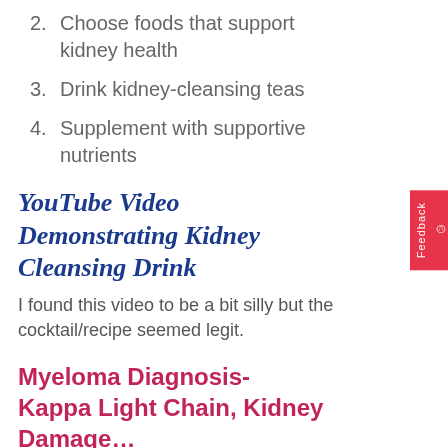2. Choose foods that support kidney health
3. Drink kidney-cleansing teas
4. Supplement with supportive nutrients
YouTube Video Demonstrating Kidney Cleansing Drink
I found this video to be a bit silly but the cocktail/recipe seemed legit.
Myeloma Diagnosis- Kappa Light Chain, Kidney Damage…